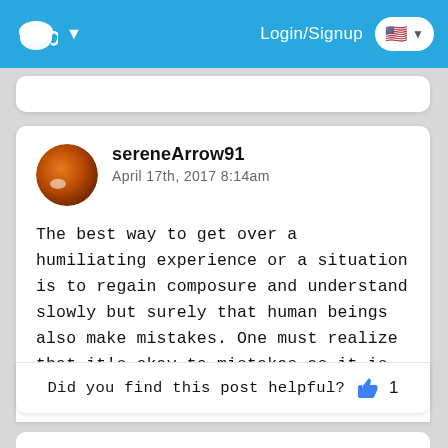Login/Signup
sereneArrow91
April 17th, 2017 8:14am

The best way to get over a humiliating experience or a situation is to regain composure and understand slowly but surely that human beings also make mistakes. One must realize that it's okay to mistakes as it is the best way to learn.
Did you find this post helpful? 1